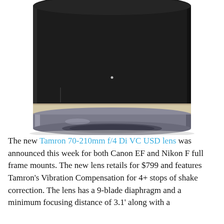[Figure (photo): A Tamron 70-210mm f/4 Di VC USD lens photographed from a low angle showing the bottom portion of the lens body. The lens is black with a cream/beige colored ring near the mount and a silver/blue lens mount at the bottom. The background is white.]
The new Tamron 70-210mm f/4 Di VC USD lens was announced this week for both Canon EF and Nikon F full frame mounts. The new lens retails for $799 and features Tamron's Vibration Compensation for 4+ stops of shake correction. The lens has a 9-blade diaphragm and a minimum focusing distance of 3.1' along with a